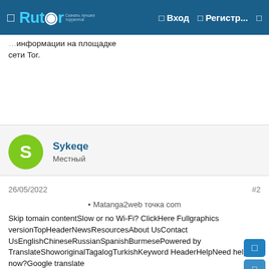Rutor — Вход — Регистр...
...информации на площадке сети Tor.
Sykeqe
Местный
26/05/2022  #2
[Figure (other): Matanga2web точка com — placeholder image/link]
Skip tomain contentSlow or no Wi-Fi? ClickHere Fullgraphics versionTopHeaderNewsResourcesAbout UsContact UsEnglishChineseRussianSpanishBurmesePowered by TranslateShoworiginalTagalogTurkishKeyword HeaderHelpNeed help now?Google translate MainnavigationISSUESISSUESISSUESAbandonment listSHIPBESURE: MANNINGAGENTSSupporters' wallHEALTH ANDWELLBEINGHEALTH &